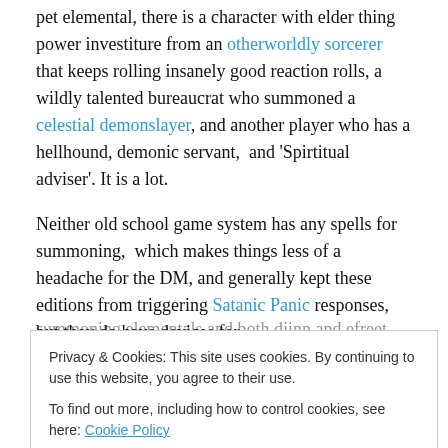pet elemental, there is a character with elder thing power investiture from an otherworldly sorcerer that keeps rolling insanely good reaction rolls, a wildly talented bureaucrat who summoned a celestial demonslayer, and another player who has a hellhound, demonic servant, and 'Spirtitual adviser'. It is a lot.
Neither old school game system has any spells for summoning, which makes things less of a headache for the DM, and generally kept these editions from triggering Satanic Panic responses, but they do have devices for summoning elementals and both djinn and efreet...
end, and an extra chance for getting something higher
Privacy & Cookies: This site uses cookies. By continuing to use this website, you agree to their use. To find out more, including how to control cookies, see here: Cookie Policy